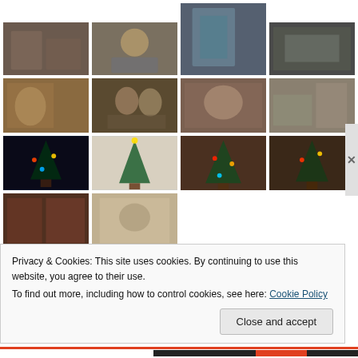[Figure (photo): Grid of family and Christmas holiday photos showing people, Christmas trees, decorated homes, and holiday decorations.]
Privacy & Cookies: This site uses cookies. By continuing to use this website, you agree to their use.
To find out more, including how to control cookies, see here: Cookie Policy
Close and accept